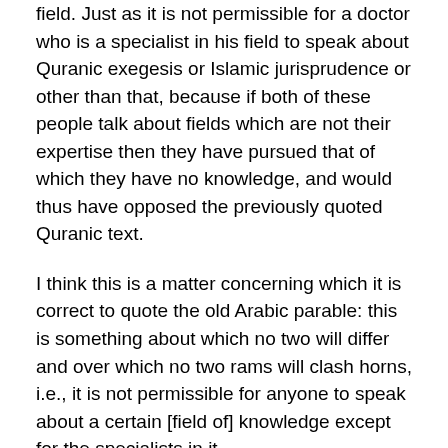field. Just as it is not permissible for a doctor who is a specialist in his field to speak about Quranic exegesis or Islamic jurisprudence or other than that, because if both of these people talk about fields which are not their expertise then they have pursued that of which they have no knowledge, and would thus have opposed the previously quoted Quranic text.
I think this is a matter concerning which it is correct to quote the old Arabic parable: this is something about which no two will differ and over which no two rams will clash horns, i.e., it is not permissible for anyone to speak about a certain [field of] knowledge except for the specialists in it.
So when [it is agreed that] this is something accepted we can turn back to the hadith [in question] and other [such